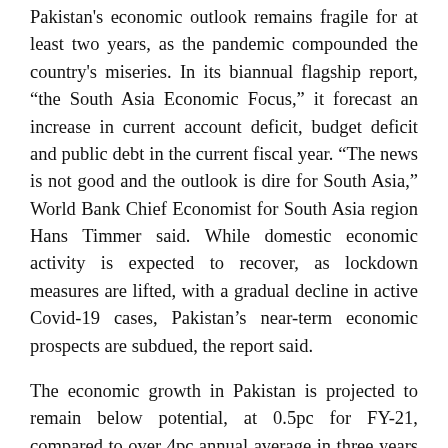Pakistan's economic outlook remains fragile for at least two years, as the pandemic compounded the country's miseries. In its biannual flagship report, “the South Asia Economic Focus,” it forecast an increase in current account deficit, budget deficit and public debt in the current fiscal year. “The news is not good and the outlook is dire for South Asia,” World Bank Chief Economist for South Asia region Hans Timmer said. While domestic economic activity is expected to recover, as lockdown measures are lifted, with a gradual decline in active Covid-19 cases, Pakistan’s near-term economic prospects are subdued, the report said.
The economic growth in Pakistan is projected to remain below potential, at 0.5pc for FY-21, compared to over 4pc annual average in three years to fiscal year 2018-19. The projection, which is highly uncertain, is predicated on the absence of significant infection flare-ups or subsequent waves that would require further widespread lockdowns. Given anaemic growth projections in the near term, poverty